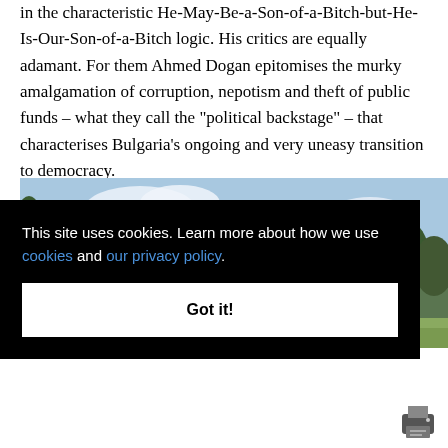in the characteristic He-May-Be-a-Son-of-a-Bitch-but-He-Is-Our-Son-of-a-Bitch logic. His critics are equally adamant. For them Ahmed Dogan epitomises the murky amalgamation of corruption, nepotism and theft of public funds – what they call the "political backstage" – that characterises Bulgaria's ongoing and very uneasy transition to democracy.
[Figure (photo): Photograph of a dilapidated building roof with red/orange discoloration, surrounded by trees under a partly cloudy sky.]
This site uses cookies. Learn more about how we use cookies and our privacy policy.
Got it!